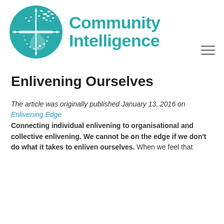[Figure (logo): Community Intelligence logo: teal circle with white birds and compass cross design, with 'Community Intelligence' text in teal to the right]
Enlivening Ourselves
The article was originally published January 13, 2016 on Enlivening Edge
Connecting individual enlivening to organisational and collective enlivening. We cannot be on the edge if we don't do what it takes to enliven ourselves. When we feel that